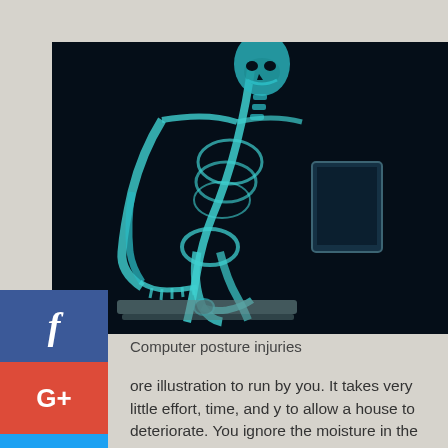[Figure (photo): X-ray image of a human skeleton hunched over a computer keyboard, illustrating computer posture injuries. The skeleton is shown in cyan/teal on a dark background.]
Computer posture injuries
ore illustration to run by you. It takes very little effort, time, and y to allow a house to deteriorate. You ignore the moisture in the windows, don't get around to repairing the loose shingles, the ... well.. they are only a little leaky. Eventually, the house is no fit to live in. However, a house you can move out of. Your body